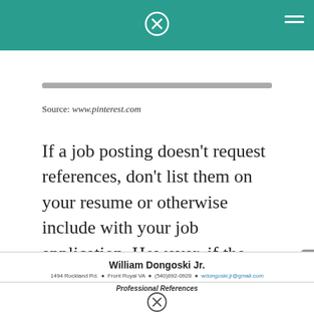Source: www.pinterest.com
If a job posting doesn't request references, don't list them on your resume or otherwise include with your job application. However, if the job ad does not specifically request references, do not include them in your resume.
William Dongoski Jr. | 1494 Rockland Rd. • Front Royal VA • (540)692-0928 • wdongoski.jr@gmail.com | Professional References